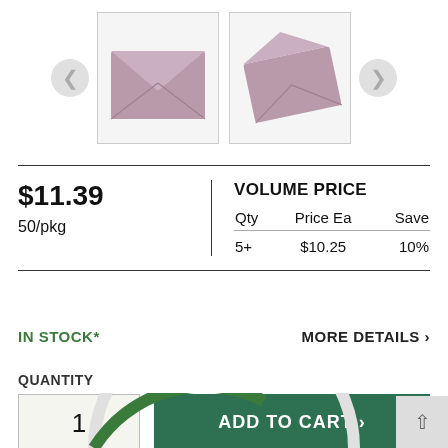[Figure (photo): Product image carousel showing two purple/mauve square envelopes with navigation arrows on either side.]
$11.39
50/pkg
VOLUME PRICE
| Qty | Price Ea | Save |
| --- | --- | --- |
| 5+ | $10.25 | 10% |
IN STOCK*
MORE DETAILS >
QUANTITY
1
ADD TO CART >